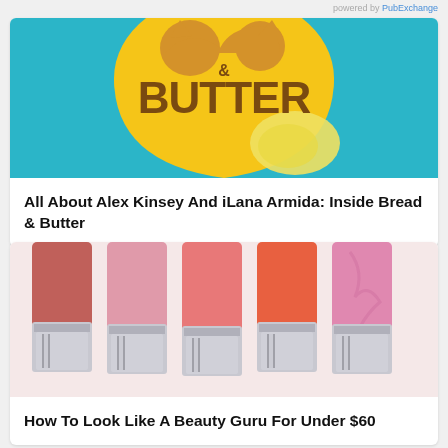powered by PubExchange
[Figure (illustration): Bread & Butter logo: cartoon butter pat on a yellow shield shape with brown text reading 'BUTTER' against a teal/blue background]
All About Alex Kinsey And iLana Armida: Inside Bread & Butter
[Figure (photo): Five lipsticks in pink/coral shades with silver metallic tubes, standing upright, close-up product photo]
How To Look Like A Beauty Guru For Under $60